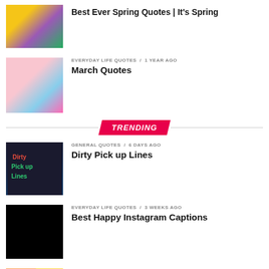[Figure (photo): Spring flowers thumbnail (yellow crocuses and purple iris)]
Best Ever Spring Quotes | It's Spring
[Figure (photo): Cherry blossom flowers thumbnail]
EVERYDAY LIFE QUOTES / 1 year ago
March Quotes
TRENDING
[Figure (photo): Dirty Pick up Lines - woman portrait]
GENERAL QUOTES / 6 days ago
Dirty Pick up Lines
[Figure (photo): Black image thumbnail]
EVERYDAY LIFE QUOTES / 3 weeks ago
Best Happy Instagram Captions
[Figure (photo): Happy Birthday colorful thumbnail]
BIRTHDAY MESSAGES / 2 days ago
Best Happy Birthday Wishes | Quotes | Images